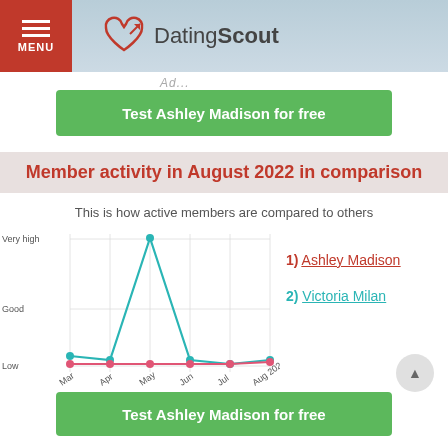DatingScout - MENU
Test Ashley Madison for free
Member activity in August 2022 in comparison
This is how active members are compared to others
[Figure (line-chart): Member activity in August 2022 in comparison]
1) Ashley Madison
2) Victoria Milan
Test Ashley Madison for free